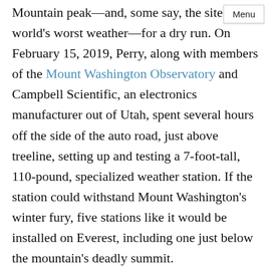Mountain peak—and, some say, the site of the world's worst weather—for a dry run. On February 15, 2019, Perry, along with members of the Mount Washington Observatory and Campbell Scientific, an electronics manufacturer out of Utah, spent several hours off the side of the auto road, just above treeline, setting up and testing a 7-foot-tall, 110-pound, specialized weather station. If the station could withstand Mount Washington's winter fury, five stations like it would be installed on Everest, including one just below the mountain's deadly summit.
As usual, Washington gave the visitors its worst. Keith Garrett, Mount Washington